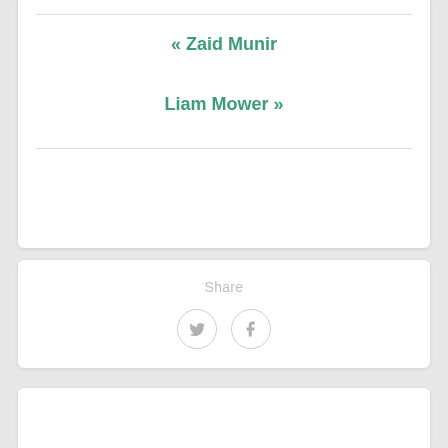« Zaid Munir
Liam Mower »
Share